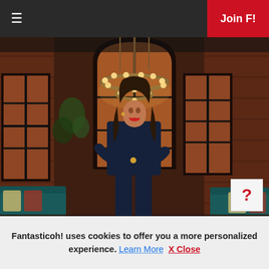≡   Join F!
[Figure (photo): A woman with long dark hair, wearing a dark navy outfit, standing with arms crossed in an elegant brick-walled interior with arched windows, teal sofa chairs, and a large chandelier overhead.]
Fantasticoh! uses cookies to offer you a more personalized experience. Learn More  X Close